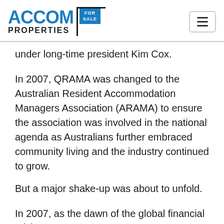[Figure (logo): ACCOM PROPERTIES FOR SALE logo with blue text and a for-sale sign graphic, plus a hamburger menu button on the right]
under long-time president Kim Cox.
In 2007, QRAMA was changed to the Australian Resident Accommodation Managers Association (ARAMA) to ensure the association was involved in the national agenda as Australians further embraced community living and the industry continued to grow.
But a major shake-up was about to unfold.
In 2007, as the dawn of the global financial crisis